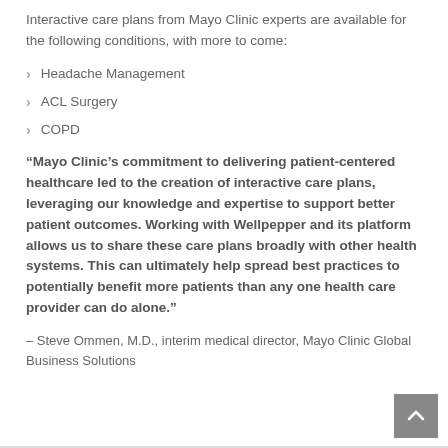Interactive care plans from Mayo Clinic experts are available for the following conditions, with more to come:
Headache Management
ACL Surgery
COPD
“Mayo Clinic’s commitment to delivering patient-centered healthcare led to the creation of interactive care plans, leveraging our knowledge and expertise to support better patient outcomes. Working with Wellpepper and its platform allows us to share these care plans broadly with other health systems. This can ultimately help spread best practices to potentially benefit more patients than any one health care provider can do alone.”
– Steve Ommen, M.D., interim medical director, Mayo Clinic Global Business Solutions